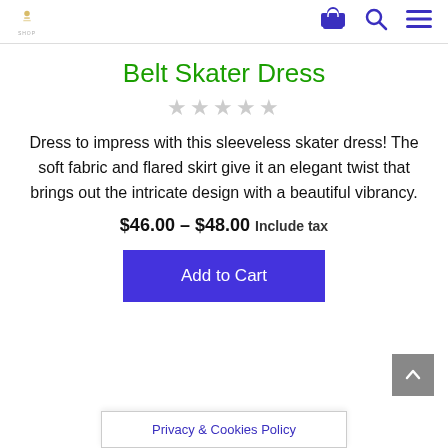[logo] [cart icon] [search icon] [menu icon]
Belt Skater Dress
★★★★★ (empty stars rating)
Dress to impress with this sleeveless skater dress! The soft fabric and flared skirt give it an elegant twist that brings out the intricate design with a beautiful vibrancy.
$46.00 - $48.00 Include tax
Add to Cart
Privacy & Cookies Policy